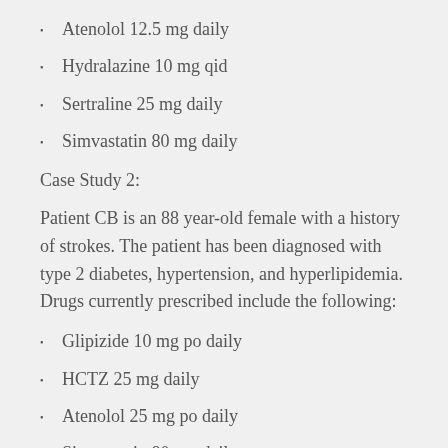Atenolol 12.5 mg daily
Hydralazine 10 mg qid
Sertraline 25 mg daily
Simvastatin 80 mg daily
Case Study 2:
Patient CB is an 88 year-old female with a history of strokes. The patient has been diagnosed with type 2 diabetes, hypertension, and hyperlipidemia. Drugs currently prescribed include the following:
Glipizide 10 mg po daily
HCTZ 25 mg daily
Atenolol 25 mg po daily
Simvastatin 80 mg daily